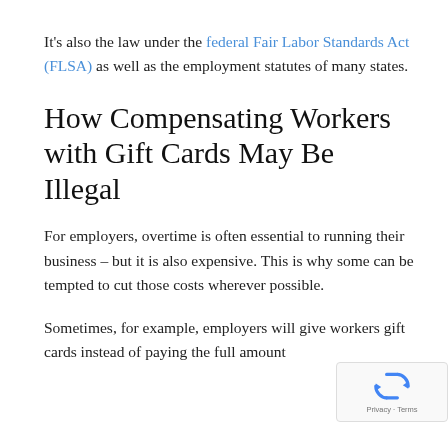It's also the law under the federal Fair Labor Standards Act (FLSA) as well as the employment statutes of many states.
How Compensating Workers with Gift Cards May Be Illegal
For employers, overtime is often essential to running their business – but it is also expensive. This is why some can be tempted to cut those costs wherever possible.
Sometimes, for example, employers will give workers gift cards instead of paying the full amount
[Figure (other): Google reCAPTCHA badge with recycling-arrows icon and Privacy · Terms links]